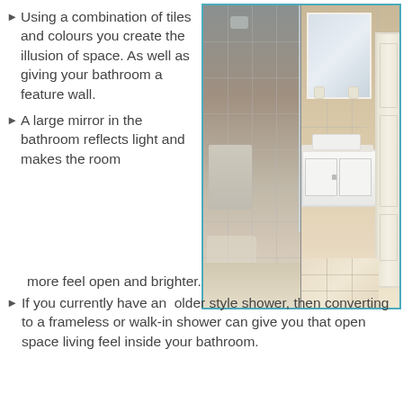Using a combination of tiles and colours you create the illusion of space. As well as giving your bathroom a feature wall.
[Figure (photo): Two-panel bathroom photo showing a walk-in frameless glass shower on the left with grey tiles and a towel rail, and on the right a white vanity unit with mirror, wall sconces, large beige marble tiles, and a white door.]
A large mirror in the bathroom reflects light and makes the room more feel open and brighter.
If you currently have an  older style shower, then converting to a frameless or walk-in shower can give you that open space living feel inside your bathroom.